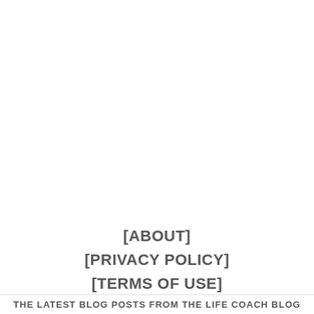[ABOUT]
[PRIVACY POLICY]
[TERMS OF USE]
THE LATEST BLOG POSTS FROM THE LIFE COACH BLOG